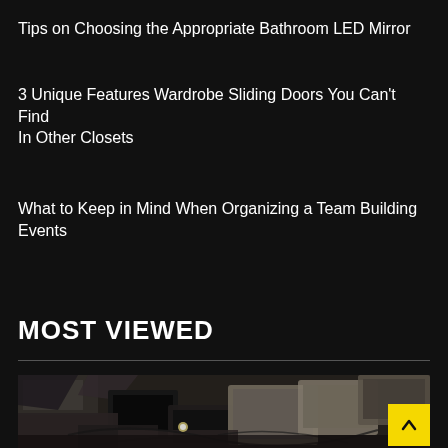Tips on Choosing the Appropriate Bathroom LED Mirror
3 Unique Features Wardrobe Sliding Doors You Can’t Find In Other Closets
What to Keep in Mind When Organizing a Team Building Events
MOST VIEWED
[Figure (photo): A pile of discarded old computer monitors, keyboards, and other electronic waste equipment heaped together]